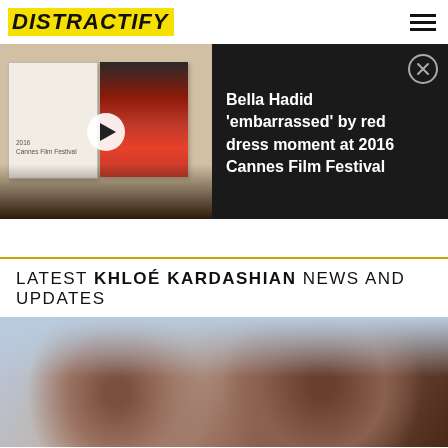DISTRACTIFY
[Figure (screenshot): Video thumbnail showing a book opened to a 2016 Cannes Film Festival page with a red dress photo, overlaid with a play button. Adjacent dark panel with text about Bella Hadid and a close button.]
Bella Hadid 'embarrassed' by red dress moment at 2016 Cannes Film Festival
LATEST KHLOÉ KARDASHIAN NEWS AND UPDATES
[Figure (photo): Close-up photo of two people's faces — a young child and an adult woman (Khloé Kardashian) — against a light blue/pink background.]